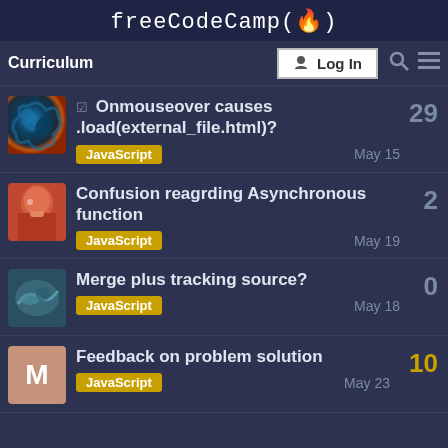freeCodeCamp(🔥)
Curriculum | Log In
☑ Onmouseover causes .load(external_file.html)? | JavaScript | May 15 | 29
Confusion reagrding Asynchronous function | JavaScript | May 19 | 2
Merge plus tracking source? | JavaScript | May 18 | 0
Feedback on problem solution | JavaScript | May 23 | 10